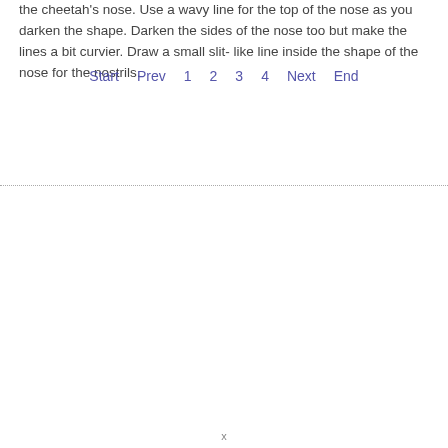the cheetah's nose. Use a wavy line for the top of the nose as you darken the shape. Darken the sides of the nose too but make the lines a bit curvier. Draw a small slit- like line inside the shape of the nose for the nostrils.
Start  Prev  1  2  3  4  Next  End
x